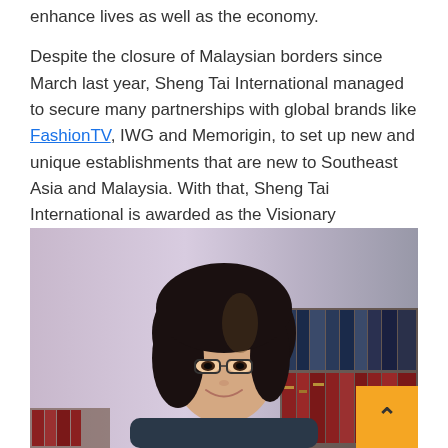enhance lives as well as the economy.
Despite the closure of Malaysian borders since March last year, Sheng Tai International managed to secure many partnerships with global brands like FashionTV, IWG and Memorigin, to set up new and unique establishments that are new to Southeast Asia and Malaysia. With that, Sheng Tai International is awarded as the Visionary Developer and Best Developers – People Choice Award, an award voted by members of the public.
[Figure (photo): Portrait photo of a smiling Asian woman with long dark hair, wearing glasses, in front of a bookshelf with red and dark-colored books. Background is blurred with a light lavender/grey gradient.]